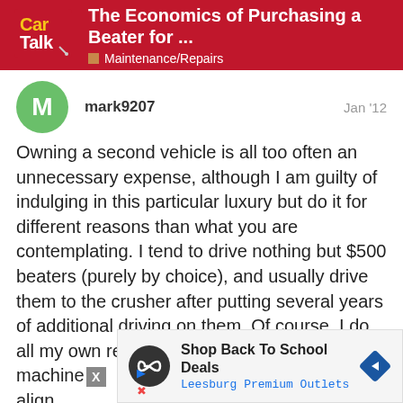The Economics of Purchasing a Beater for ... | Maintenance/Repairs
mark9207
Jan '12
Owning a second vehicle is all too often an unnecessary expense, although I am guilty of indulging in this particular luxury but do it for different reasons than what you are contemplating. I tend to drive nothing but $500 beaters (purely by choice), and usually drive them to the crusher after putting several years of additional driving on them. Of course, I do all my own repairs (unless it requires a tire machine, alignment machine, etc.). I never hesitate to buy a "beater" and I know many people who do it for similar reasons. I do it for reasons of economy and convenience...but I also have...
[Figure (other): Advertisement overlay: Shop Back To School Deals - Leesburg Premium Outlets, with navigation icon]